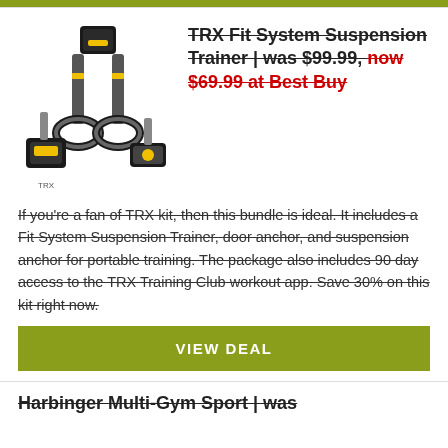[Figure (photo): TRX Fit System Suspension Trainer product image showing straps, handles, and accessories on white background]
TRX Fit System Suspension Trainer | was $99.99, now $69.99 at Best Buy
If you're a fan of TRX kit, then this bundle is ideal. It includes a Fit System Suspension Trainer, door anchor, and suspension anchor for portable training. The package also includes 90 day access to the TRX Training Club workout app. Save 30% on this kit right now.
VIEW DEAL
Harbinger Multi-Gym Sport | was